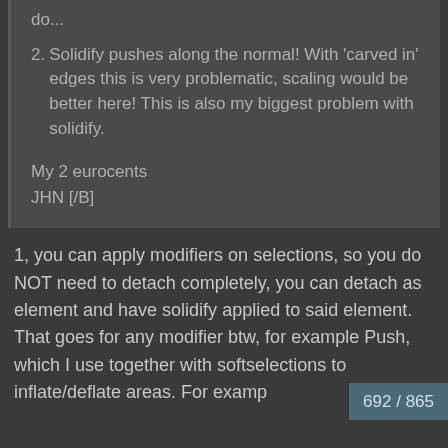do...
2. Solidify pushes along the normal! With 'carved in' edges this is very problematic, scaling would be better here! This is also my biggest problem with solidify.
My 2 eurocents
JHN [/B]
1, you can apply modifiers on selections, so you do NOT need to detach completely, you can detach as element and have solidify applied to said element. That goes for any modifier btw, for example Push, which I use together with softselections to inflate/deflate areas. For examp
692 / 865